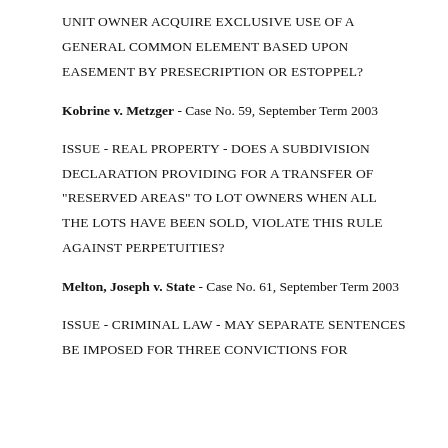UNIT OWNER ACQUIRE EXCLUSIVE USE OF A GENERAL COMMON ELEMENT BASED UPON EASEMENT BY PRESECRIPTION OR ESTOPPEL?
Kobrine v. Metzger - Case No. 59, September Term 2003
ISSUE - REAL PROPERTY - DOES A SUBDIVISION DECLARATION PROVIDING FOR A TRANSFER OF "RESERVED AREAS" TO LOT OWNERS WHEN ALL THE LOTS HAVE BEEN SOLD, VIOLATE THIS RULE AGAINST PERPETUITIES?
Melton, Joseph v. State - Case No. 61, September Term 2003
ISSUE - CRIMINAL LAW - MAY SEPARATE SENTENCES BE IMPOSED FOR THREE CONVICTIONS FOR